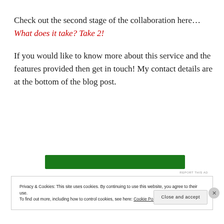Check out the second stage of the collaboration here… What does it take? Take 2!
If you would like to know more about this service and the features provided then get in touch! My contact details are at the bottom of the blog post.
[Figure (other): Green advertisement banner]
REPORT THIS AD
Privacy & Cookies: This site uses cookies. By continuing to use this website, you agree to their use.
To find out more, including how to control cookies, see here: Cookie Policy
Close and accept